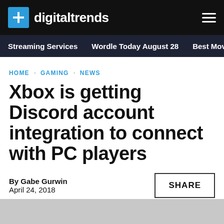digitaltrends
Streaming Services · Wordle Today August 28 · Best Movies c
HOME · GAMING · NEWS
Xbox is getting Discord account integration to connect with PC players
By Gabe Gurwin
April 24, 2018
SHARE